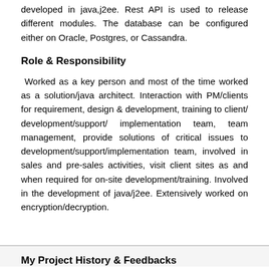developed in java,j2ee. Rest API is used to release different modules. The database can be configured either on Oracle, Postgres, or Cassandra.
Role & Responsibility
Worked as a key person and most of the time worked as a solution/java architect. Interaction with PM/clients for requirement, design & development, training to client/ development/support/ implementation team, team management, provide solutions of critical issues to development/support/implementation team, involved in sales and pre-sales activities, visit client sites as and when required for on-site development/training. Involved in the development of java/j2ee. Extensively worked on encryption/decryption.
My Project History & Feedbacks